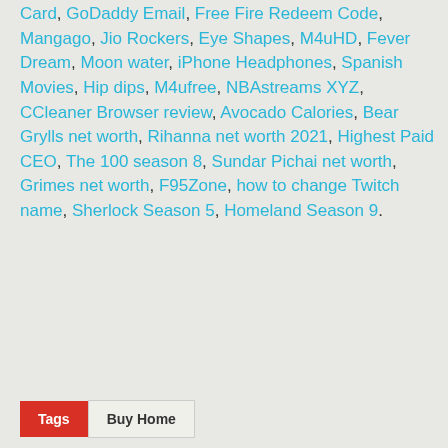Card, GoDaddy Email, Free Fire Redeem Code, Mangago, Jio Rockers, Eye Shapes, M4uHD, Fever Dream, Moon water, iPhone Headphones, Spanish Movies, Hip dips, M4ufree, NBAstreams XYZ, CCleaner Browser review, Avocado Calories, Bear Grylls net worth, Rihanna net worth 2021, Highest Paid CEO, The 100 season 8, Sundar Pichai net worth, Grimes net worth, F95Zone, how to change Twitch name, Sherlock Season 5, Homeland Season 9.
Tags  Buy Home